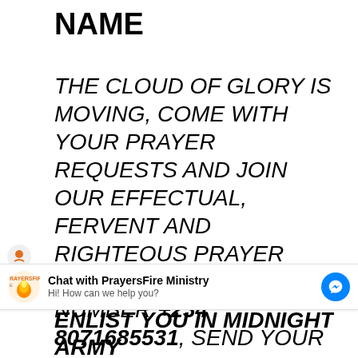NAME
THE CLOUD OF GLORY IS MOVING, COME WITH YOUR PRAYER REQUESTS AND JOIN OUR EFFECTUAL, FERVENT AND RIGHTEOUS PRAYER ALTAR AT WHATSHAPP NUMBER +234 8071685531, SEND YOUR WHATSHAPP NUMBER, NAMES, GENDER AND COUNTRY TO OUR
[Figure (screenshot): Chat widget bar showing PrayersFire Ministry logo, 'Chat with PrayersFire Ministry' text, 'Hi! How can we help you?' subtitle, and a blue Messenger icon on the right.]
ENLIST YOU IN MIDNIGHT ARMY